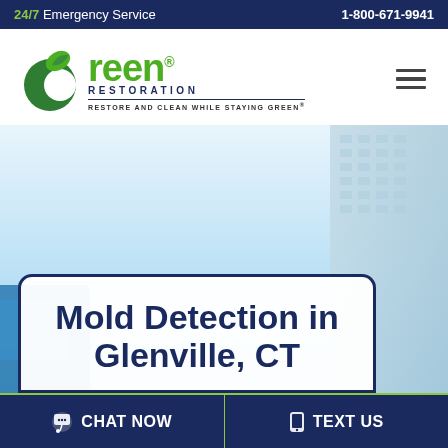24/7 Emergency Service | 1-800-671-9941
[Figure (logo): Green Restoration logo with green leaf C icon, text 'Green RESTORATION', tagline 'RESTORE AND CLEAN WHILE STAYING GREEN']
[Figure (photo): Hero image showing building exterior with blue sky, van visible on left side]
Mold Detection in Glenville, CT
CHAT NOW | TEXT US